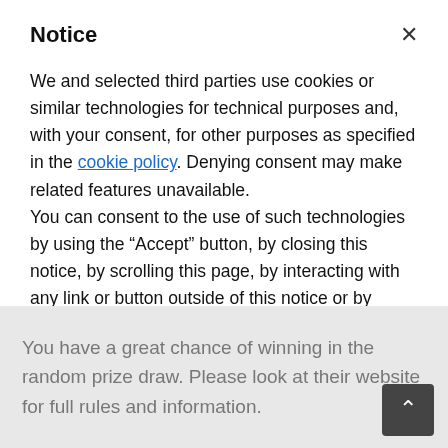Notice
We and selected third parties use cookies or similar technologies for technical purposes and, with your consent, for other purposes as specified in the cookie policy. Denying consent may make related features unavailable.
You can consent to the use of such technologies by using the “Accept” button, by closing this notice, by scrolling this page, by interacting with any link or button outside of this notice or by continuing to browse otherwise.
Accept
Learn more and customize
You have a great chance of winning in the random prize draw. Please look at their website for full rules and information.